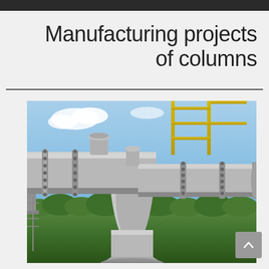Manufacturing projects of columns
[Figure (photo): Industrial large-diameter pipe column junction with flanges and nozzles, photographed outdoors against a blue sky with trees in background. Shows heavy industrial piping assembly with T-junction and multiple flanged connections.]